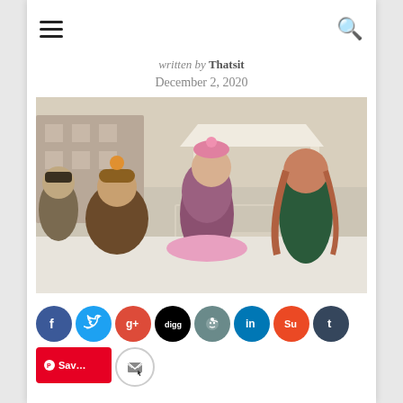≡   [search icon]
written by Thatsit
December 2, 2020
[Figure (photo): Scene from a movie or TV show: group of women standing outdoors in winter near a gazebo. One woman wears a plaid coat and pink tutu with a pink beanie, another has long red hair and a green coat, another wears a brown hoodie and colorful pom-pom hat, and another wears a dark cap. Snow is visible on the ground.]
[Figure (infographic): Social media sharing icons row: Facebook (blue), Twitter (cyan), Google+ (red-orange), Digg (black), Reddit (gray), LinkedIn (blue), StumbleUpon (orange), Tumblr (dark blue). Below: Pinterest Save button (red) and Email icon.]